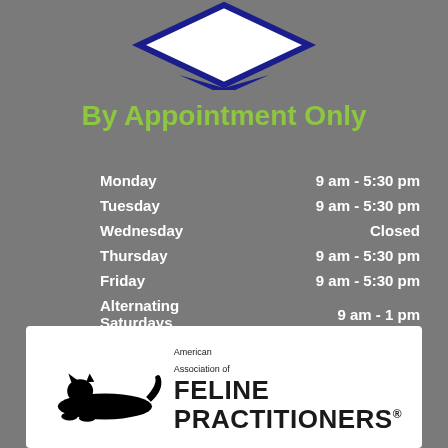[Figure (illustration): Blue diamond/chevron logo shape at top of page]
By Appointment Only
| Day | Hours |
| --- | --- |
| Monday | 9 am - 5:30 pm |
| Tuesday | 9 am - 5:30 pm |
| Wednesday | Closed |
| Thursday | 9 am - 5:30 pm |
| Friday | 9 am - 5:30 pm |
| Alternating Saturdays | 9 am - 1 pm |
| Sunday | Closed |
[Figure (logo): American Association of Feline Practitioners logo with black cat silhouette]